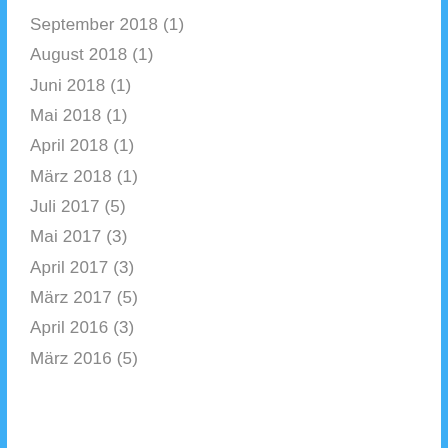September 2018 (1)
August 2018 (1)
Juni 2018 (1)
Mai 2018 (1)
April 2018 (1)
März 2018 (1)
Juli 2017 (5)
Mai 2017 (3)
April 2017 (3)
März 2017 (5)
April 2016 (3)
März 2016 (5)